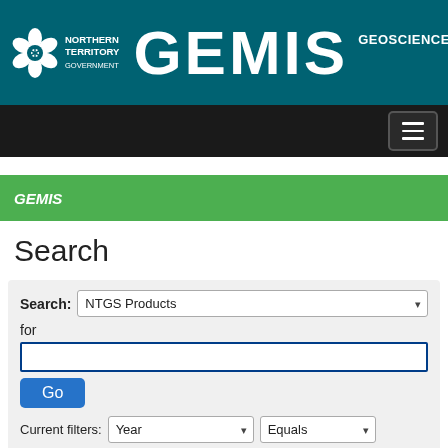NORTHERN TERRITORY GOVERNMENT — GEMIS — GEOSCIENCE EXP
GEMIS
Search
Search: NTGS Products for
Go
Current filters: Year  Equals
[2020 TO 2021]
X
Document Type  Equals